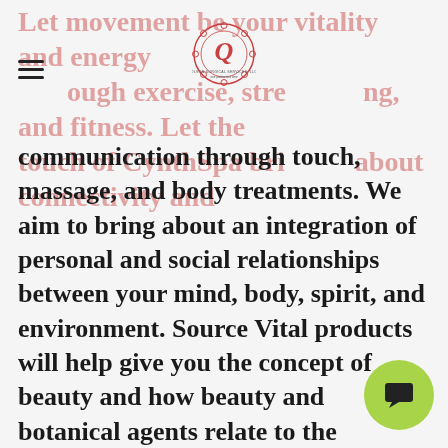Let movement be your vitality and energy through exercise, strengthening, and fitness. Let the touch of CynthSpa bring about connectivity and
[Figure (logo): Olson Surgical Services LLC logo — circular design with ornate border and letter Q in the center, text reads 'OLSON SURGICAL SERVICES, LLC one patient at a time']
communication through touch, massage, and body treatments. We aim to bring about an integration of personal and social relationships between your mind, body, spirit, and environment. Source Vital products will help give you the concept of beauty and how beauty and botanical agents relate to the biochemical components of the body. Our Professional environment will embrace your needs and concerns of your entire body. Our cultural diversity expands our spiritual belief systems, the value of art, and the social and political view of time. Through social networking abilities we can volunteer our